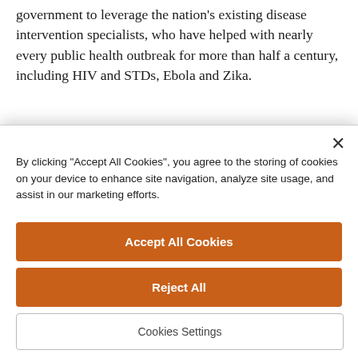government to leverage the nation's existing disease intervention specialists, who have helped with nearly every public health outbreak for more than half a century, including HIV and STDs, Ebola and Zika.
“We need a federal plan that provides money and training to states and employs the expertise we
By clicking "Accept All Cookies", you agree to the storing of cookies on your device to enhance site navigation, analyze site usage, and assist in our marketing efforts.
Accept All Cookies
Reject All
Cookies Settings